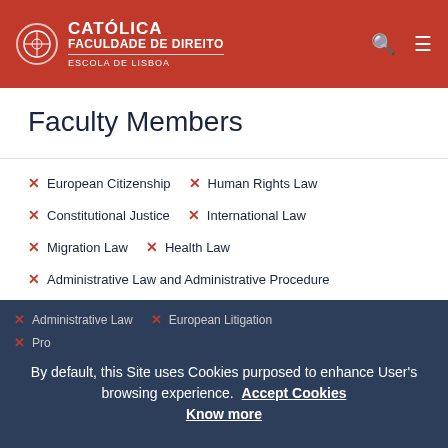CATOLICA FACULDADE DE DIREITO ESCOLA DE LISBOA
Faculty Members
× European Citizenship   × Human Rights Law
× Constitutional Justice   × International Law
× Migration Law   × Health Law
× Administrative Law and Administrative Procedure
× Administrative Law   × European Litigation
× Pro...
By default, this Site uses Cookies purposed to enhance User's browsing experience. Accept Cookies Know more